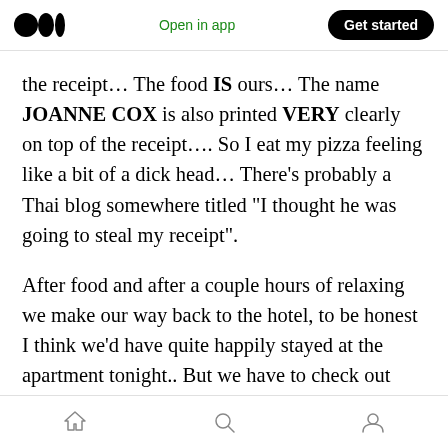Open in app | Get started
the receipt… The food IS ours… The name JOANNE COX is also printed VERY clearly on top of the receipt…. So I eat my pizza feeling like a bit of a dick head… There's probably a Thai blog somewhere titled "I thought he was going to steal my receipt".
After food and after a couple hours of relaxing we make our way back to the hotel, to be honest I think we'd have quite happily stayed at the apartment tonight.. But we have to check out tomorrow.. So off to the apartment we go….
Home | Search | Profile